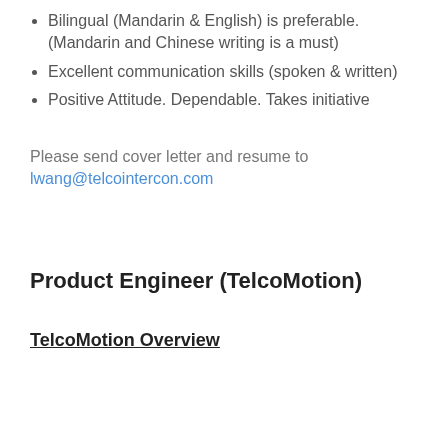Bilingual (Mandarin & English) is preferable. (Mandarin and Chinese writing is a must)
Excellent communication skills (spoken & written)
Positive Attitude. Dependable. Takes initiative
Please send cover letter and resume to
lwang@telcointercon.com
Product Engineer (TelcoMotion)
TelcoMotion Overview